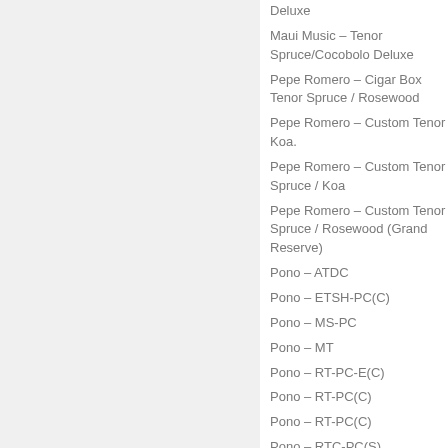Deluxe
Maui Music – Tenor Spruce/Cocobolo Deluxe
Pepe Romero – Cigar Box Tenor Spruce / Rosewood
Pepe Romero – Custom Tenor Koa.
Pepe Romero – Custom Tenor Spruce / Koa
Pepe Romero – Custom Tenor Spruce / Rosewood (Grand Reserve)
Pono – ATDC
Pono – ETSH-PC(C)
Pono – MS-PC
Pono – MT
Pono – RT-PC-E(C)
Pono – RT-PC(C)
Pono – RT-PC(C)
Pono – RTC-PC(S)
Pono – TE-DC.